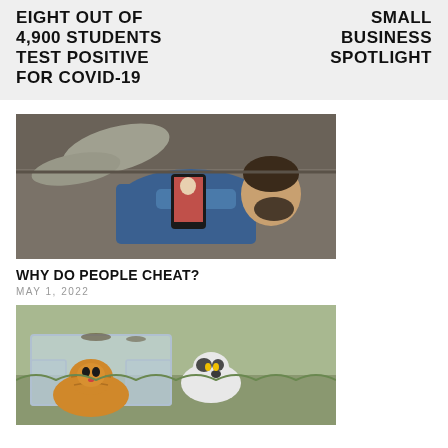EIGHT OUT OF 4,900 STUDENTS TEST POSITIVE FOR COVID-19
SMALL BUSINESS SPOTLIGHT
[Figure (photo): Man lying on a grey couch looking at a smartphone showing a video call]
WHY DO PEOPLE CHEAT?
MAY 1, 2022
[Figure (photo): Two cats in or near a clear plastic shelter/trap outdoors]